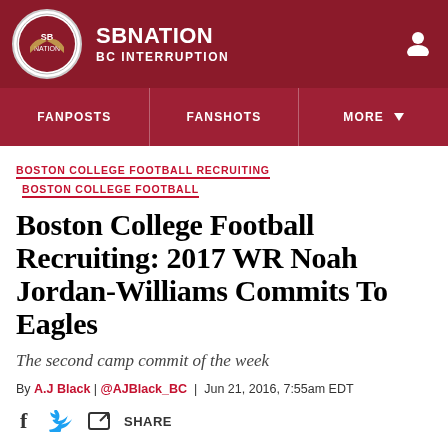SBNation BC Interruption
FANPOSTS | FANSHOTS | MORE
BOSTON COLLEGE FOOTBALL RECRUITING  BOSTON COLLEGE FOOTBALL
Boston College Football Recruiting: 2017 WR Noah Jordan-Williams Commits To Eagles
The second camp commit of the week
By A.J Black | @AJBlack_BC | Jun 21, 2016, 7:55am EDT
SHARE